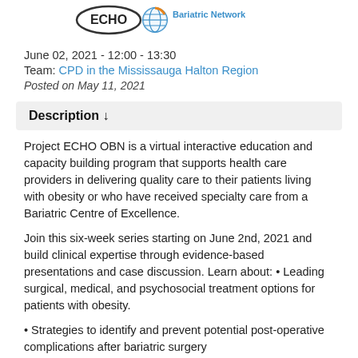[Figure (logo): Project ECHO and Ontario Bariatric Network logos side by side]
June 02, 2021 - 12:00 - 13:30
Team: CPD in the Mississauga Halton Region
Posted on May 11, 2021
Description ↓
Project ECHO OBN is a virtual interactive education and capacity building program that supports health care providers in delivering quality care to their patients living with obesity or who have received specialty care from a Bariatric Centre of Excellence.
Join this six-week series starting on June 2nd, 2021 and build clinical expertise through evidence-based presentations and case discussion. Learn about: • Leading surgical, medical, and psychosocial treatment options for patients with obesity.
• Strategies to identify and prevent potential post-operative complications after bariatric surgery